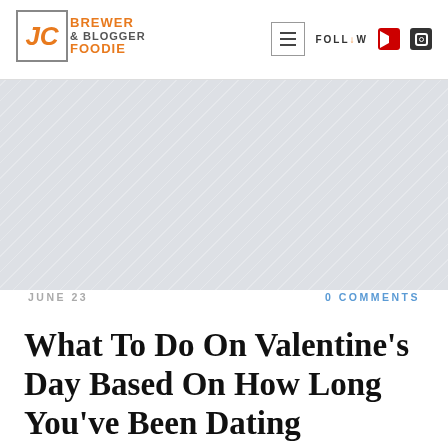JC Brewer Blogger Foodie — FOLLOW
[Figure (illustration): Gray diagonal-striped hero/advertisement placeholder area]
JUNE 23
0 COMMENTS
What To Do On Valentine's Day Based On How Long You've Been Dating